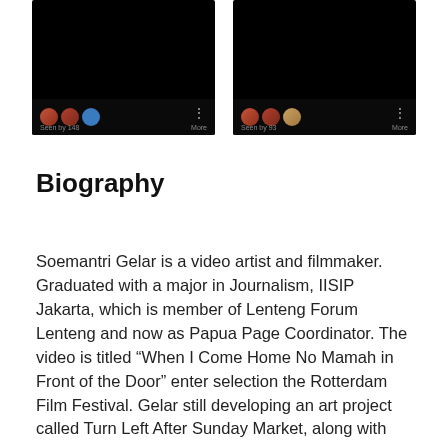[Figure (screenshot): Two dark/black video screenshot thumbnails side by side, each showing avatar icons, a three-dot menu, seen count, and 'More' text at the bottom]
Biography
Soemantri Gelar is a video artist and filmmaker. Graduated with a major in Journalism, IISIP Jakarta, which is member of Lenteng Forum Lenteng and now as Papua Page Coordinator. The video is titled “When I Come Home No Mamah in Front of the Door” enter selection the Rotterdam Film Festival. Gelar still developing an art project called Turn Left After Sunday Market, along with